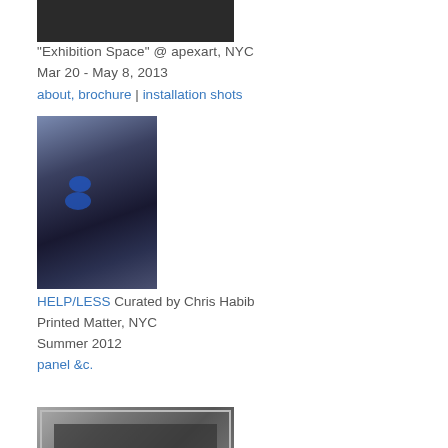[Figure (photo): Dark photograph of an exhibition space, cropped at top]
"Exhibition Space" @ apexart, NYC
Mar 20 - May 8, 2013
about, brochure | installation shots
[Figure (photo): Blue-tinted monochrome photo of a person with long dark hair and blue circular markings over their eyes, looking downward]
HELP/LESS Curated by Chris Habib
Printed Matter, NYC
Summer 2012
panel &c.
[Figure (photo): Photograph of a framed or boxed artwork, partially visible, dark tones]